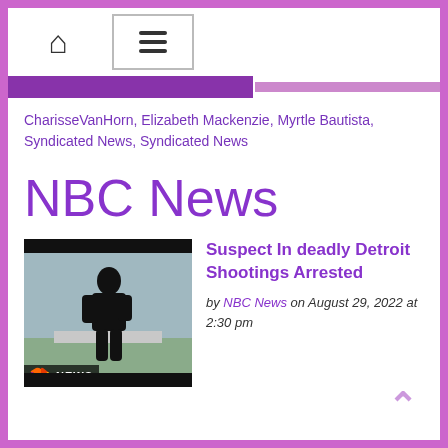NBC News website header with home icon and hamburger menu
CharisseVanHorn, Elizabeth Mackenzie, Myrtle Bautista, Syndicated News, Syndicated News
NBC News
[Figure (screenshot): NBC News video thumbnail showing a person in dark clothing walking outdoors, with NBC NEWS logo badge in lower left]
Suspect In deadly Detroit Shootings Arrested
by NBC News on August 29, 2022 at 2:30 pm